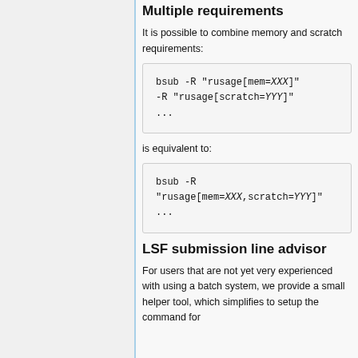Multiple requirements
It is possible to combine memory and scratch requirements:
[Figure (other): Code block: bsub -R "rusage[mem=XXX]" -R "rusage[scratch=YYY]" ...]
is equivalent to:
[Figure (other): Code block: bsub -R "rusage[mem=XXX,scratch=YYY]" ...]
LSF submission line advisor
For users that are not yet very experienced with using a batch system, we provide a small helper tool, which simplifies to setup the command for